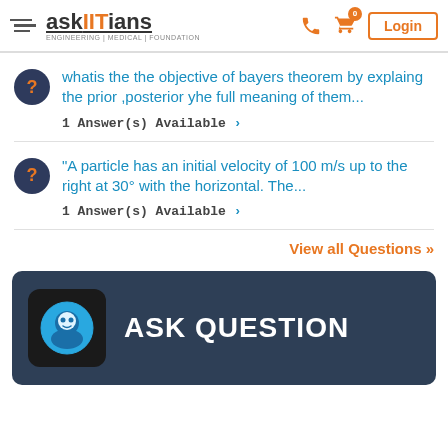askIITians ENGINEERING | MEDICAL | FOUNDATION
whatis the the objective of bayers theorem by explaing the prior ,posterior yhe full meaning of them...
1 Answer(s) Available >
“A particle has an initial velocity of 100 m/s up to the right at 30° with the horizontal. The...
1 Answer(s) Available >
View all Questions »
[Figure (screenshot): ASK QUESTION banner with a robot/bot icon on dark blue background]